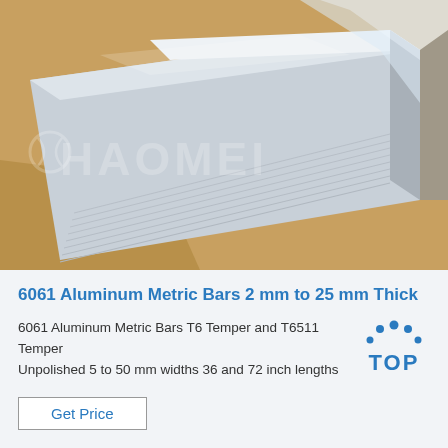[Figure (photo): Stack of aluminum metal sheets/bars with HAOMEI watermark branding on a brown packaging background]
6061 Aluminum Metric Bars 2 mm to 25 mm Thick
6061 Aluminum Metric Bars T6 Temper and T6511 Temper Unpolished 5 to 50 mm widths 36 and 72 inch lengths
[Figure (logo): TOP badge logo with blue dots arranged in arc above the word TOP in blue]
Get Price